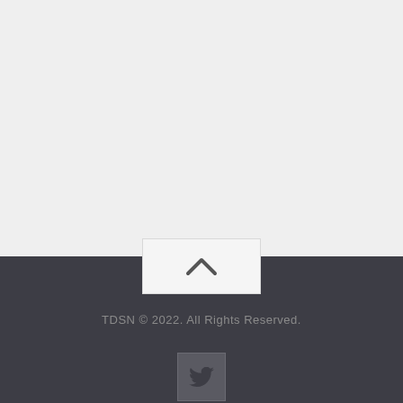[Figure (other): Light gray empty content area at top of page]
[Figure (other): Scroll-to-top button with upward chevron arrow, white/light gray background, positioned at boundary between content and footer]
TDSN © 2022. All Rights Reserved.
[Figure (other): Twitter bird icon button with dark gray background]